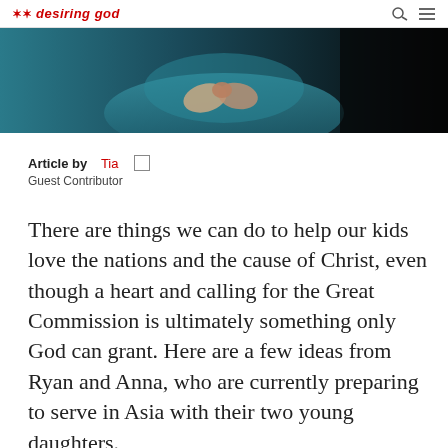Desiring God
[Figure (photo): Cropped photo showing hands (possibly a person holding something) against a teal/dark background]
Article by Tia
Guest Contributor
There are things we can do to help our kids love the nations and the cause of Christ, even though a heart and calling for the Great Commission is ultimately something only God can grant. Here are a few ideas from Ryan and Anna, who are currently preparing to serve in Asia with their two young daughters.